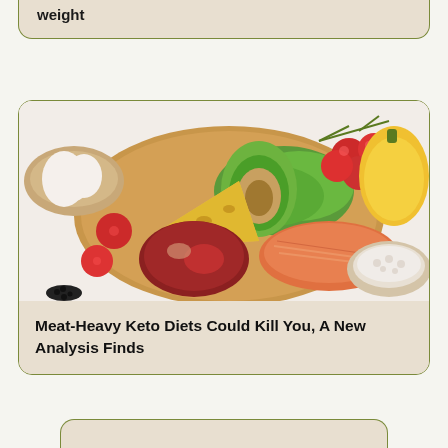weight
[Figure (photo): Keto diet foods arranged on a wooden cutting board: cherry tomatoes, avocado, cheese wedge, raw meat, salmon fillet, lettuce, yellow bell pepper, eggs in a bowl, cottage cheese in a bowl, and black seeds on a white surface.]
Meat-Heavy Keto Diets Could Kill You, A New Analysis Finds